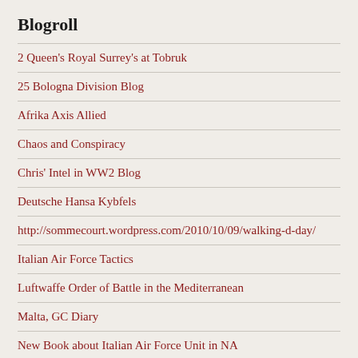Blogroll
2 Queen's Royal Surrey's at Tobruk
25 Bologna Division Blog
Afrika Axis Allied
Chaos and Conspiracy
Chris' Intel in WW2 Blog
Deutsche Hansa Kybfels
http://sommecourt.wordpress.com/2010/10/09/walking-d-day/
Italian Air Force Tactics
Luftwaffe Order of Battle in the Mediterranean
Malta, GC Diary
New Book about Italian Air Force Unit in NA
No. 237 (Rhodesian) Squadron RAF
No.33 Squadron and Fighter Ace Lance Wade
Obergefreiter Hans Wiedemann – StG3